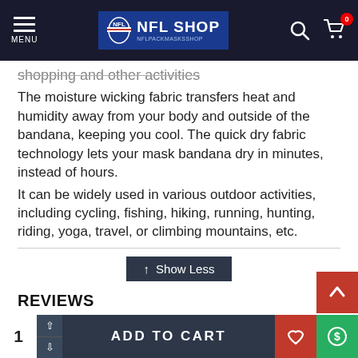MENU | NFL SHOP | NFLPACKMASKSSHOP
shopping and other activities
The moisture wicking fabric transfers heat and humidity away from your body and outside of the bandana, keeping you cool. The quick dry fabric technology lets your mask bandana dry in minutes, instead of hours.
It can be widely used in various outdoor activities, including cycling, fishing, hiking, running, hunting, riding, yoga, travel, or climbing mountains, etc.
↑ Show Less
REVIEWS →
TAGS: adjustable outdoor travel | soft mouth shields | francisco 49ers mask | san francisco 49ers | reusable miami football | climbing reusable miami
1 ADD TO CART